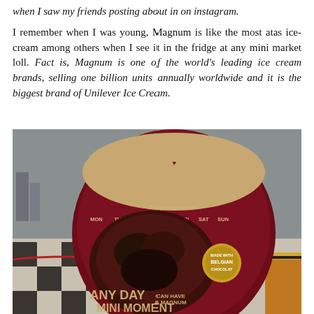when I saw my friends posting about in on instagram.

I remember when I was young, Magnum is like the most atas ice-cream among others when I see it in the fridge at any mini market loll. Fact is, Magnum is one of the world's leading ice cream brands, selling one billion units annually worldwide and it is the biggest brand of Unilever Ice Cream.
[Figure (photo): A Magnum Mini promotional display board in a mall, showing the Magnum Mini logo, days of the week (MON TUE WED THU FRI SAT SUN), a chocolate ice cream image, Belgian Chocolate badge, and the tagline 'ANY DAY CAN HAVE A MAGNUM MINI MOMENT'.]